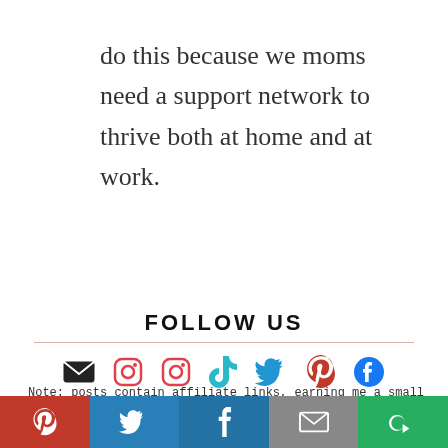do this because we moms need a support network to thrive both at home and at work.
FOLLOW US
[Figure (infographic): Row of social media icons: email (envelope), Instagram, Instagram, TikTok, Twitter/X, Pinterest, Facebook. Second row: LinkedIn, YouTube, Bloglovin (B')]
Note: posts contain affiliate links, earning me a small commission at no additional charge to you. This site uses browser cookies
[Figure (infographic): Social share bar with Pinterest (red), Twitter (blue), Facebook (blue), Email (gray), More (green) buttons]